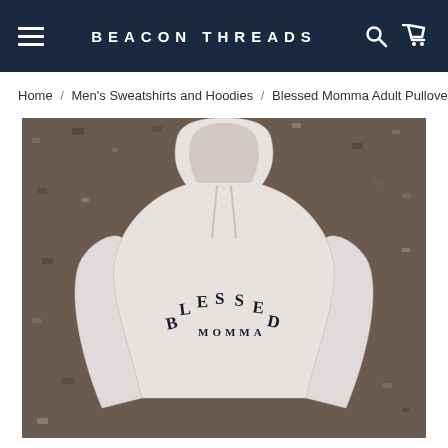BEACON THREADS
Home / Men's Sweatshirts and Hoodies / Blessed Momma Adult Pullover
[Figure (photo): White hoodie sweatshirt with 'BLESSED MOMMA' text printed in an arch on the front, laid flat on a textured concrete/stone surface. The hoodie is shown from the front, hood up.]